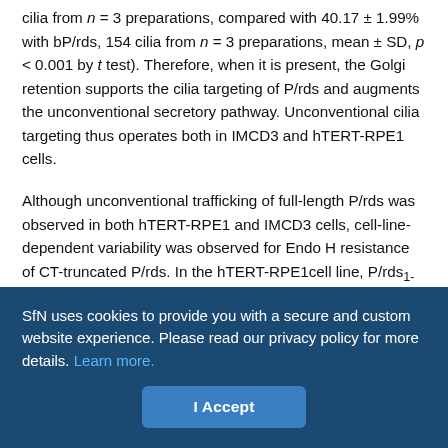cilia from n = 3 preparations, compared with 40.17 ± 1.99% with bP/rds, 154 cilia from n = 3 preparations, mean ± SD, p < 0.001 by t test). Therefore, when it is present, the Golgi retention supports the cilia targeting of P/rds and augments the unconventional secretory pathway. Unconventional cilia targeting thus operates both in IMCD3 and hTERT-RPE1 cells.
Although unconventional trafficking of full-length P/rds was observed in both hTERT-RPE1 and IMCD3 cells, cell-line-dependent variability was observed for Endo H resistance of CT-truncated P/rds. In the hTERT-RPE1cell line, P/rds1-312, which lacks the region essential for cilia targeting, was almost completely resistant to Endo H. However, in the IMCD3 cell line, bP/rds1-312 was only modestly resistant to Endo H, at a level ~15% higher than that of bP/rds. This modest
SfN uses cookies to provide you with a secure and custom website experience. Please read our privacy policy for more details. Learn more.